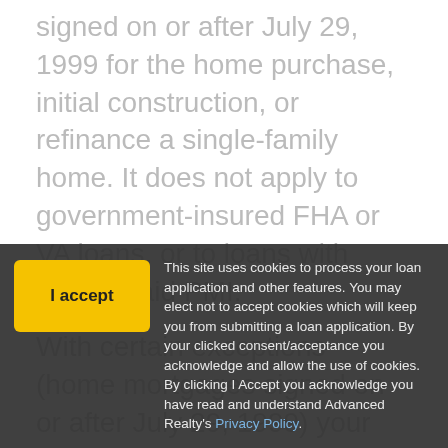signed on or after July 29, 1999 for the home purchase, initial construction, or refinance of a single-family home. It does not apply to government-insured FHA or VA loans, or to loans with lender-paid PMI.
With certain exceptions (home mortgages signed on or after July 29, 1999) your PMI must be terminated automatically when 22% of the equity of your home is reached, based on the on... payments are... you... reach 20% equity, again based on the original property value, if your mortgage payments are
This site uses cookies to process your loan application and other features. You may elect not to accept cookies which will keep you from submitting a loan application. By your clicked consent/acceptance you acknowledge and allow the use of cookies. By clicking I Accept you acknowledge you have read and understand Advanced Realty's Privacy Policy.